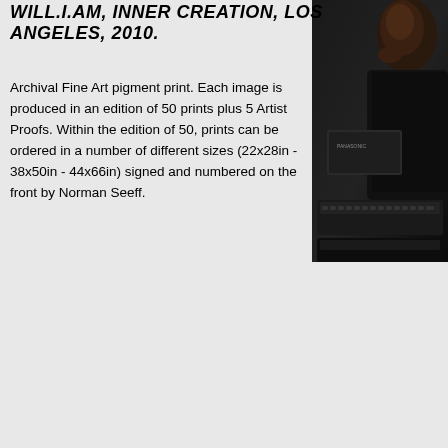WILL.I.AM, INNER CREATION, LOS ANGELES, 2010.
Archival Fine Art pigment print. Each image is produced in an edition of 50 prints plus 5 Artist Proofs. Within the edition of 50, prints can be ordered in a number of different sizes (22x28in - 38x50in - 44x66in) signed and numbered on the front by Norman Seeff.
[Figure (photo): Dark photograph showing a person (Will.i.am) partially visible on the right side of the page, with dark background and some equipment/keyboard visible in the lower portion of the image.]